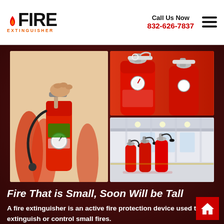FIRE EXTINGUISHER | Call Us Now 832-626-7837
[Figure (photo): Three fire extinguisher photos: left shows a hand operating a fire extinguisher with red cylinders in background; top right shows close-up of red fire extinguishers with white handle/pin; bottom right shows group of large red fire extinguishers in an industrial warehouse.]
Fire That is Small, Soon Will be Tall
A fire extinguisher is an active fire protection device used to extinguish or control small fires.